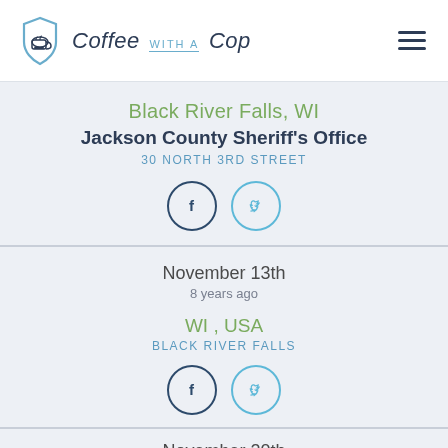Coffee with a Cop
Black River Falls, WI
Jackson County Sheriff's Office
30 NORTH 3RD STREET
[Figure (infographic): Facebook and Twitter social share icons (circle buttons)]
November 13th
8 years ago
WI , USA
BLACK RIVER FALLS
[Figure (infographic): Facebook and Twitter social share icons (circle buttons)]
November 20th